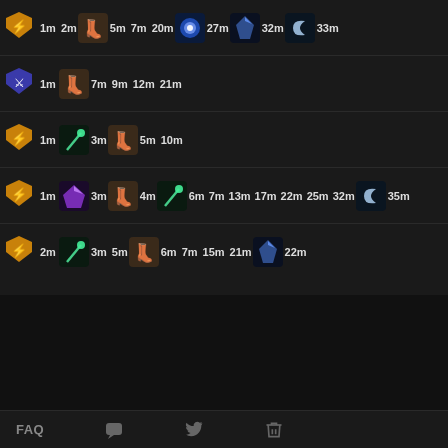[Figure (screenshot): Game item build timeline UI. Row 1 (shield+lightning): 1m, 2m, boots 5m, 7m, 20m, orb 27m, crystal 32m, moon 33m. Row 2 (sword): 1m, boots 7m, 9m, 12m, 21m. Row 3 (shield+lightning): 1m, staff 3m, boots 5m, 10m. Row 4 (shield+lightning): 1m, purple-item 3m, boots 4m, staff 6m, 7m, 13m, 17m, 22m, 25m, 32m, moon 35m. Row 5 (shield+lightning): 2m, staff 3m, 5m, boots 6m, 7m, 15m, 21m, crystal 22m.]
FAQ  [discord icon]  [twitter icon]  [trash icon]